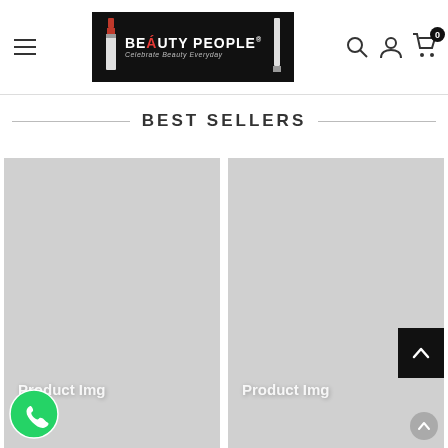Beauty People - Celebrate Beauty Everyday - Navigation header with hamburger menu, logo, search, account, and cart icons
BEST SELLERS
[Figure (photo): Product image placeholder (grey rectangle) for first best seller product]
[Figure (photo): Product image placeholder (grey rectangle) for second best seller product]